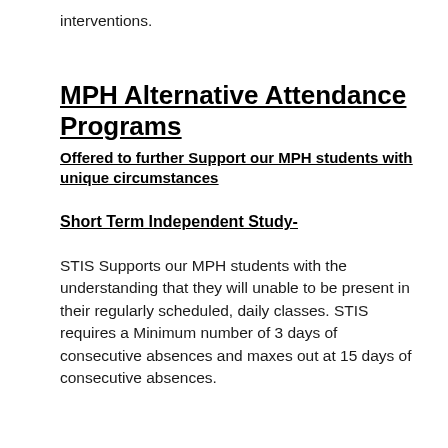interventions.
MPH Alternative Attendance Programs
Offered to further Support our MPH students with unique circumstances
Short Term Independent Study-
STIS Supports our MPH students with the understanding that they will unable to be present in their regularly scheduled, daily classes. STIS requires a Minimum number of 3 days of consecutive absences and maxes out at 15 days of consecutive absences.